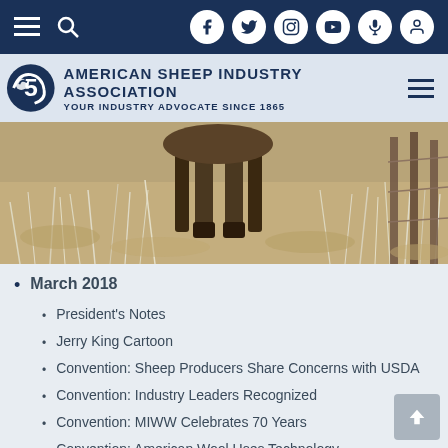American Sheep Industry Association — YOUR INDUSTRY ADVOCATE SINCE 1865
[Figure (photo): Close-up photo of sheep legs and frost-covered dry grass in a winter field setting]
March 2018
President's Notes
Jerry King Cartoon
Convention: Sheep Producers Share Concerns with USDA
Convention: Industry Leaders Recognized
Convention: MIWW Celebrates 70 Years
Convention: American Wool Uses Technology